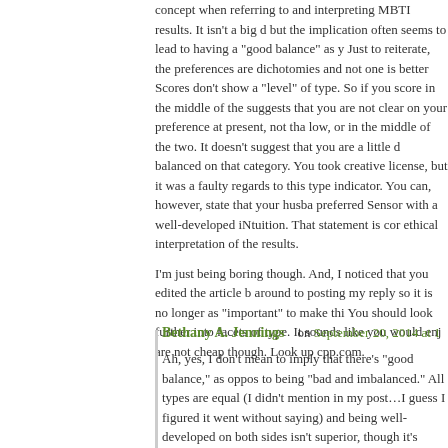concept when referring to and interpreting MBTI results. It isn't a big d but the implication often seems to lead to having a "good balance" as y Just to reiterate, the preferences are dichotomies and not one is better Scores don't show a "level" of type. So if you score in the middle of the suggests that you are not clear on your preference at present, not tha low, or in the middle of the two. It doesn't suggest that you are a little d balanced on that category. You took creative license, but it was a faulty regards to this type indicator. You can, however, state that your husba preferred Sensor with a well-developed iNtuition. That statement is cor ethical interpretation of the results.
I'm just being boring though. And, I noticed that you edited the article b around to posting my reply so it is no longer as "important" to make thi You should look further into facets of type. It sounds like you would enj are not cheap though. Look up cpp.com.
Bethany A. Jennings on September 20, 2014 at 1
Ah, yes, I don't mean to imply that there's "good balance," as oppos to being "bad and imbalanced." All types are equal (I didn't mention in my post…I guess I figured it went without saying) and being well-developed on both sides isn't superior, though it's helpful to that inc glad to be a preferred Feeler with well-developed Thinking! I find